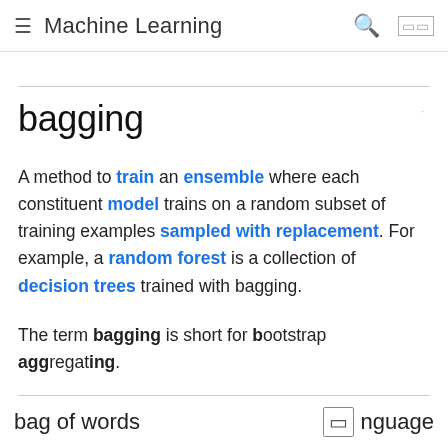Machine Learning
bagging
A method to train an ensemble where each constituent model trains on a random subset of training examples sampled with replacement. For example, a random forest is a collection of decision trees trained with bagging.
The term bagging is short for bootstrap aggregating.
bag of words  □ nguage